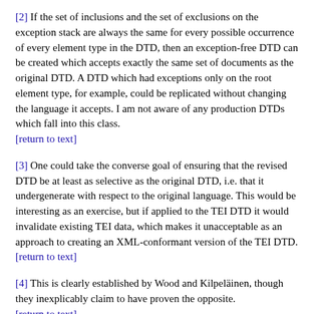[2] If the set of inclusions and the set of exclusions on the exception stack are always the same for every possible occurrence of every element type in the DTD, then an exception-free DTD can be created which accepts exactly the same set of documents as the original DTD. A DTD which had exceptions only on the root element type, for example, could be replicated without changing the language it accepts. I am not aware of any production DTDs which fall into this class.
[return to text]
[3] One could take the converse goal of ensuring that the revised DTD be at least as selective as the original DTD, i.e. that it undergenerate with respect to the original language. This would be interesting as an exercise, but if applied to the TEI DTD it would invalidate existing TEI data, which makes it unacceptable as an approach to creating an XML-conformant version of the TEI DTD.
[return to text]
[4] This is clearly established by Wood and Kilpeläinen, though they inexplicably claim to have proven the opposite.
[return to text]
[5] Strictly speaking, these ought perhaps to be imf(E,I), mf(E,I), and m(E,I), but for purposes of this paper we will never need different sets of inclusions I. So if it matters, we can define imf(E)